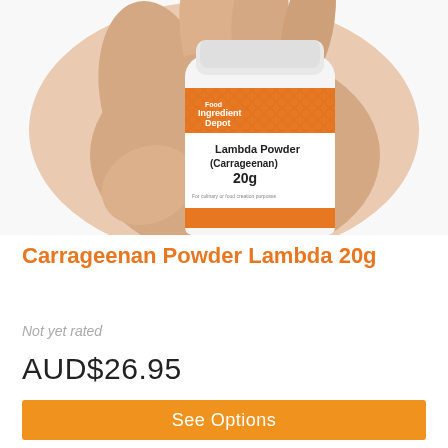[Figure (photo): A hand holding a white cylindrical container with an orange label reading 'Food Ingredient Depot — Lambda Powder (Carrageenan) 20g' against a white background.]
Carrageenan Powder Lambda 20g
Not yet rated
AUD$26.95
See Options